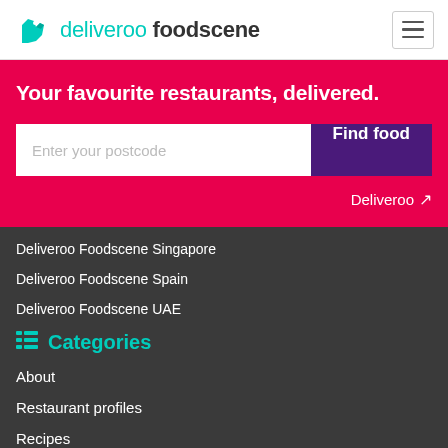deliveroo foodscene
Your favourite restaurants, delivered.
Enter your postcode | Find food
Deliveroo ↗
Deliveroo Foodscene Singapore
Deliveroo Foodscene Spain
Deliveroo Foodscene UAE
Categories
About
Restaurant profiles
Recipes
Cuisine inspiration